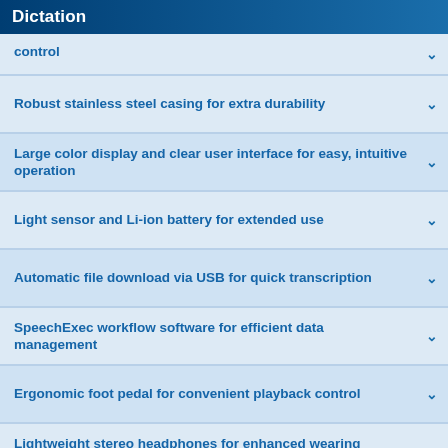Dictation
control
Robust stainless steel casing for extra durability
Large color display and clear user interface for easy, intuitive operation
Light sensor and Li-ion battery for extended use
Automatic file download via USB for quick transcription
SpeechExec workflow software for efficient data management
Ergonomic foot pedal for convenient playback control
Lightweight stereo headphones for enhanced wearing comfort
We use cookies to ensure that we give you the best experience on our website. By continuing to browse, we understand that you accept their use. Click here for more information on our Cookie policy.